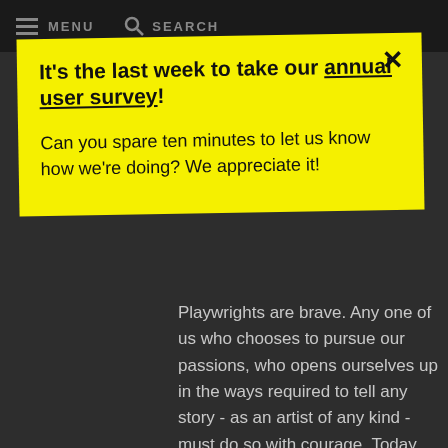MENU  SEARCH
It's the last week to take our annual user survey!
Can you spare ten minutes to let us know how we're doing? We appreciate it!
Playwrights are brave. Any one of us who chooses to pursue our passions, who opens ourselves up in the ways required to tell any story - as an artist of any kind - must do so with courage. Today you showed both courage and vulnerability. I'll look forward to